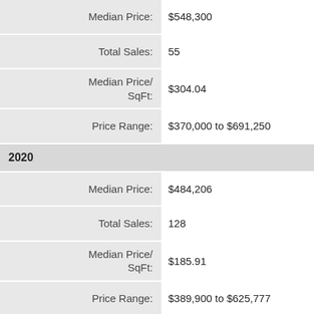| Label | Value |
| --- | --- |
| Median Price: | $548,300 |
| Total Sales: | 55 |
| Median Price/ SqFt: | $304.04 |
| Price Range: | $370,000 to $691,250 |
| 2020 |  |
| Median Price: | $484,206 |
| Total Sales: | 128 |
| Median Price/ SqFt: | $185.91 |
| Price Range: | $389,900 to $625,777 |